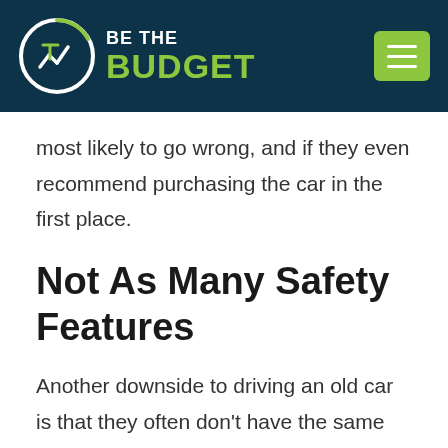[Figure (logo): Be The Budget website header with circular logo on dark navy background and green hamburger menu icon]
most likely to go wrong, and if they even recommend purchasing the car in the first place.
Not As Many Safety Features
Another downside to driving an old car is that they often don't have the same safety features as newer cars.
This might include things like extra air bags, anti-lock brakes, and stability control.